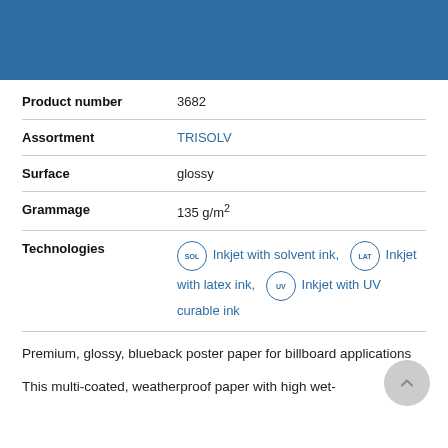[Figure (other): Blue header banner]
| Product number | 3682 |
| Assortment | TRISOLV |
| Surface | glossy |
| Grammage | 135 g/m² |
| Technologies | Inkjet with solvent ink, Inkjet with latex ink, Inkjet with UV curable ink |
Premium, glossy, blueback poster paper for billboard applications
This multi-coated, weatherproof paper with high wet-